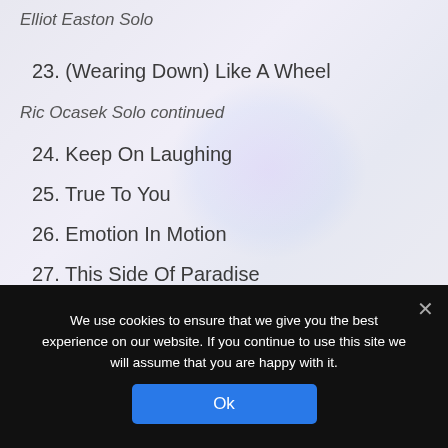Elliot Easton Solo
23. (Wearing Down) Like A Wheel
Ric Ocasek Solo continued
24. Keep On Laughing
25. True To You
26. Emotion In Motion
27. This Side Of Paradise
Benjamin Orr Solo
We use cookies to ensure that we give you the best experience on our website. If you continue to use this site we will assume that you are happy with it.